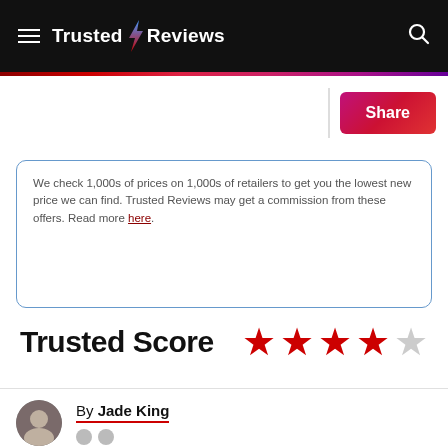Trusted Reviews
We check 1,000s of prices on 1,000s of retailers to get you the lowest new price we can find. Trusted Reviews may get a commission from these offers. Read more here.
Trusted Score
[Figure (infographic): Star rating showing 4 out of 5 red stars]
By Jade King